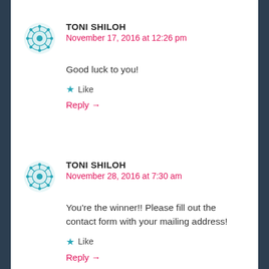TONI SHILOH
November 17, 2016 at 12:26 pm
Good luck to you!
Like
Reply →
TONI SHILOH
November 28, 2016 at 7:30 am
You're the winner!! Please fill out the contact form with your mailing address!
Like
Reply →